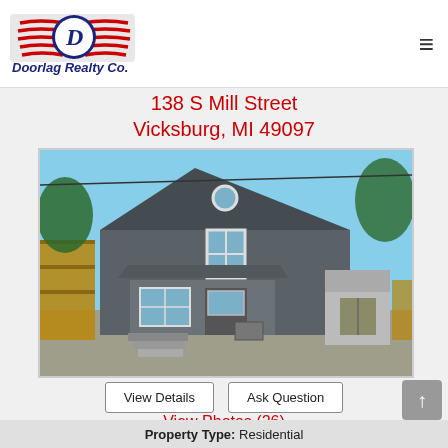[Figure (logo): Doorlag Realty Co. logo with red stripes and blue D emblem]
138 S Mill Street
Vicksburg, MI 49097
[Figure (photo): Exterior photo of a two-story gray house with white trim, covered porch, steps, and a detached garage visible in background. Trees and blue sky.]
View Details
Ask Question
View Photos (26)
Property Type: Residential